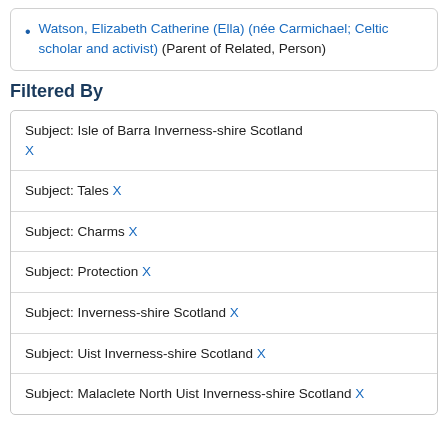Watson, Elizabeth Catherine (Ella) (née Carmichael; Celtic scholar and activist) (Parent of Related, Person)
Filtered By
| Filter |
| --- |
| Subject: Isle of Barra Inverness-shire Scotland X |
| Subject: Tales X |
| Subject: Charms X |
| Subject: Protection X |
| Subject: Inverness-shire Scotland X |
| Subject: Uist Inverness-shire Scotland X |
| Subject: Malaclete North Uist Inverness-shire Scotland X |